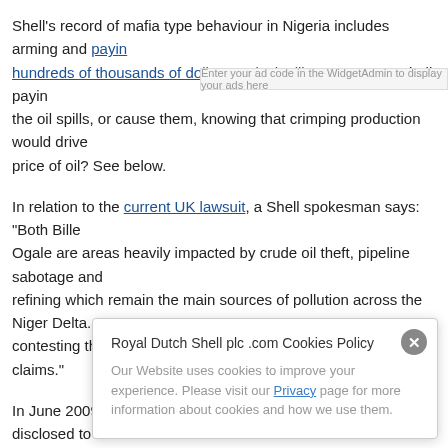Shell's record of mafia type behaviour in Nigeria includes arming and paying hundreds of thousands of dollars to rival militant gangs. Is Shell paying to suppress the oil spills, or cause them, knowing that crimping production would drive up the price of oil? See below.
In relation to the current UK lawsuit, a Shell spokesman says: "Both Bille and Ogale are areas heavily impacted by crude oil theft, pipeline sabotage and illegal refining which remain the main sources of pollution across the Niger Delta. ... We are contesting the jurisdiction of the English court over these claims."
In June 2009 we reported that a Shell Nigeria insider had disclosed to us that his senior colleagues had a commercial relationship with militant leaders of gangs carrying out attacks on Shell employees, pipelines and installations. We established that the source was authentic. Indeed, I discovered that The Financial Times had already confirmed the basics of our source's allegations (see [Shell gave...])
The...
The... background... very difficult situation and to the worthy objective of keeping the oil flowing
[Figure (screenshot): Cookie consent popup from Royal Dutch Shell plc .com stating 'Our Website uses cookies to improve your experience. Please visit our Privacy page for more information about cookies and how we use them.' with a close button (X) in the top right corner.]